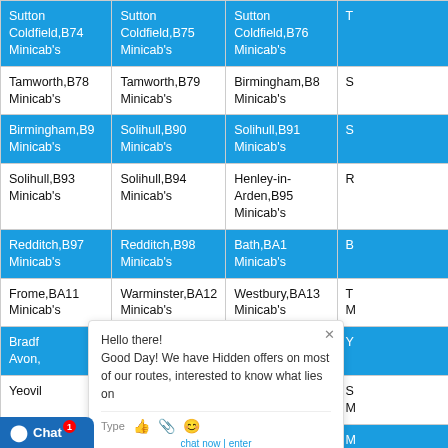| Sutton Coldfield,B74 Minicab's | Sutton Coldfield,B75 Minicab's | Sutton Coldfield,B76 Minicab's | T… |
| Tamworth,B78 Minicab's | Tamworth,B79 Minicab's | Birmingham,B8 Minicab's | S… |
| Birmingham,B9 Minicab's | Solihull,B90 Minicab's | Solihull,B91 Minicab's | S… |
| Solihull,B93 Minicab's | Solihull,B94 Minicab's | Henley-in-Arden,B95 Minicab's | R… |
| Redditch,B97 Minicab's | Redditch,B98 Minicab's | Bath,BA1 Minicab's | B… |
| Frome,BA11 Minicab's | Warminster,BA12 Minicab's | Westbury,BA13 Minicab's | T… M… |
| Bradford… Avon… | Street,BA16 Minicab's | Bath,BA2 Minicab's | Y… |
| Yeovil… | Yeovil,BA22 Minicab's | Radstock,BA3 Minicab's | S… M… |
| Wells… | Glastonbury,BA6 Minicab's | Castle Cary,BA7 Minicab's | M… |
| …BA9 Minicab's | Blackburn,BB1 Minicab's | Burnley,BB10 Minicab's | B… |